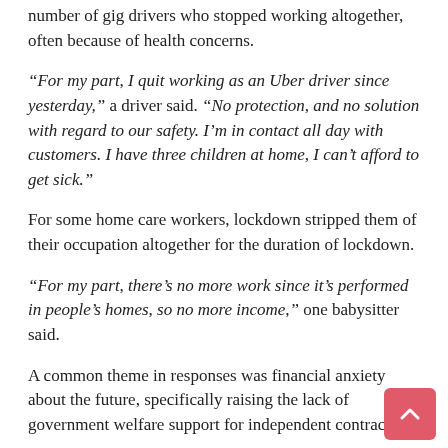number of gig drivers who stopped working altogether, often because of health concerns.
“For my part, I quit working as an Uber driver since yesterday,” a driver said. “No protection, and no solution with regard to our safety. I’m in contact all day with customers. I have three children at home, I can’t afford to get sick.”
For some home care workers, lockdown stripped them of their occupation altogether for the duration of lockdown.
“For my part, there’s no more work since it’s performed in people’s homes, so no more income,” one babysitter said.
A common theme in responses was financial anxiety about the future, specifically raising the lack of government welfare support for independent contractors.
“Unfortunately our status as independent workers is precarious, that’s our daily lot. No unemployment benefits or sick leave,” one driver said.